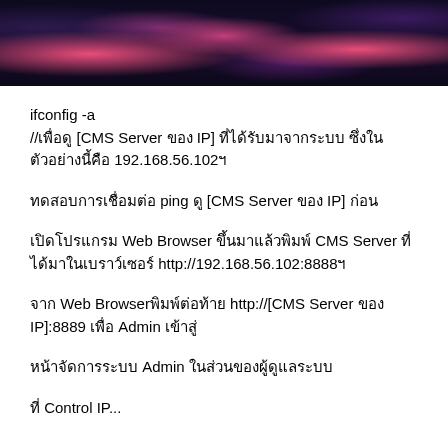[Figure (photo): Dark floral decorative banner image with pink flowers on a dark/black background]
ifconfig -a
//เพื่อดู [CMS Server ของ IP] ที่ได้รับมาจากระบบ ซึ่งในตัวอย่างนี้คือ 192.168.56.102ฯ
ทดสอบการเชื่อมต่อ ping ดู [CMS Server ของ IP] ก่อน
เปิดโปรแกรม Web Browser ขึ้นมาแล้วพิมพ์ CMS Server ที่ได้มาในเบราว์เซอร์ http://192.168.56.102:8888ฯ
จาก Web Browserพิมพ์ต่อท้าย http://[CMS Server ของ IP]:8889 เพื่อ Admin เข้าสู่
หน้าจัดการระบบ Admin ในส่วนของผู้ดูแลระบบ
ที่ Control IP...